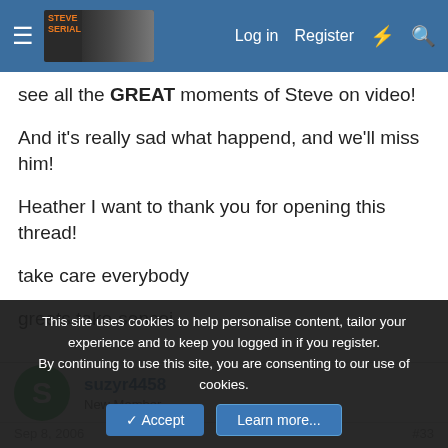Steve Irwin forum — nav bar with Log in, Register
see all the GREAT moments of Steve on video!
And it's really sad what happend, and we'll miss him!
Heather I want to thank you for opening this thread!
take care everybody
greets take-sensei
suzyr4458
New Member
Sep 8, 2006  #33
This site uses cookies to help personalise content, tailor your experience and to keep you logged in if you register.
By continuing to use this site, you are consenting to our use of cookies.